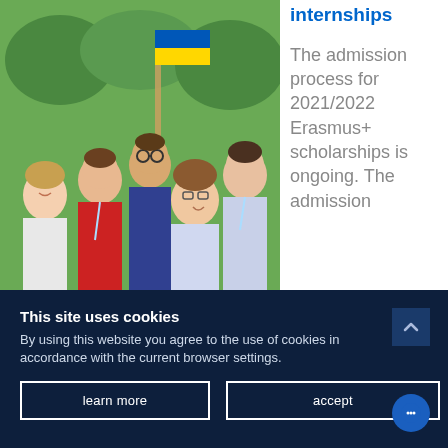[Figure (photo): Group of young students/people at an outdoor event, some holding flags, smiling at the camera]
internships
The admission process for 2021/2022 Erasmus+ scholarships is ongoing. The admission
This site uses cookies
By using this website you agree to the use of cookies in accordance with the current browser settings.
learn more
accept